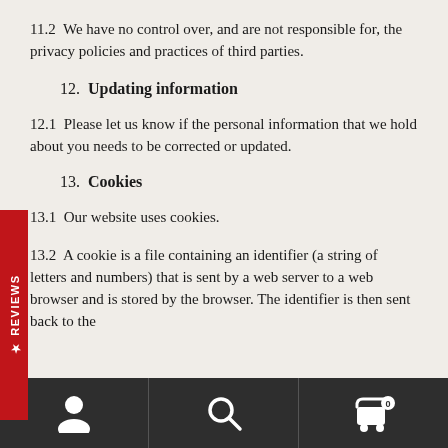11.2  We have no control over, and are not responsible for, the privacy policies and practices of third parties.
12.  Updating information
12.1  Please let us know if the personal information that we hold about you needs to be corrected or updated.
13.  Cookies
13.1  Our website uses cookies.
13.2  A cookie is a file containing an identifier (a string of letters and numbers) that is sent by a web server to a web browser and is stored by the browser. The identifier is then sent back to the